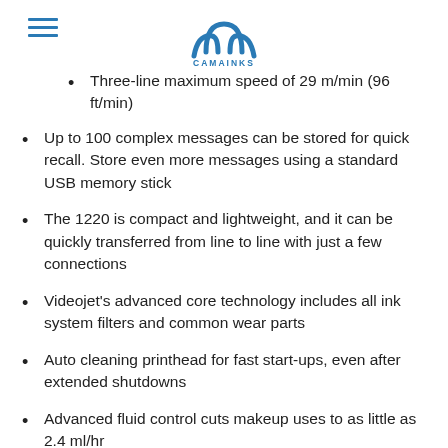[Figure (logo): CAMAINKS logo with blue wave/arc symbol above the text CAMAINKS]
Three-line maximum speed of 29 m/min (96 ft/min)
Up to 100 complex messages can be stored for quick recall. Store even more messages using a standard USB memory stick
The 1220 is compact and lightweight, and it can be quickly transferred from line to line with just a few connections
Videojet's advanced core technology includes all ink system filters and common wear parts
Auto cleaning printhead for fast start-ups, even after extended shutdowns
Advanced fluid control cuts makeup uses to as little as 2.4 ml/hr